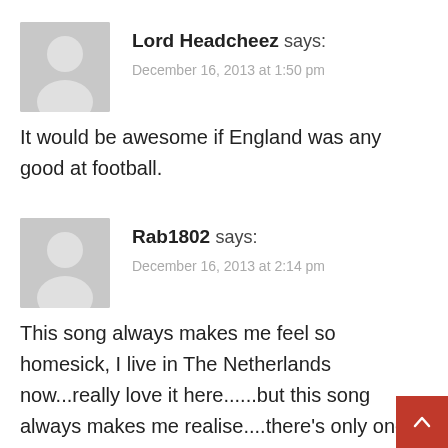Lord Headcheez says:
December 16, 2013 at 1:50 pm
It would be awesome if England was any good at football.
Rab1802 says:
December 16, 2013 at 2:14 pm
This song always makes me feel so homesick, I live in The Netherlands now...really love it here......but this song always makes me realise....there’s only one home....and...my